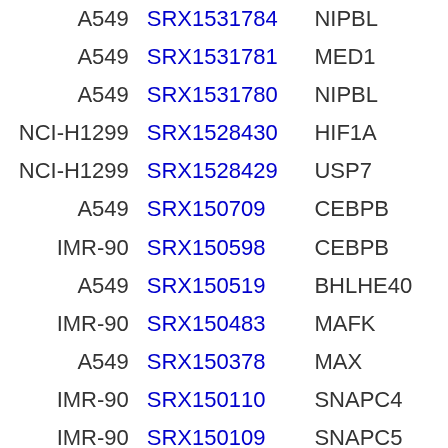| Cell | SRX | Gene |  |
| --- | --- | --- | --- |
| A549 | SRX1531784 | NIPBL |  |
| A549 | SRX1531781 | MED1 |  |
| A549 | SRX1531780 | NIPBL |  |
| NCI-H1299 | SRX1528430 | HIF1A |  |
| NCI-H1299 | SRX1528429 | USP7 |  |
| A549 | SRX150709 | CEBPB |  |
| IMR-90 | SRX150598 | CEBPB |  |
| A549 | SRX150519 | BHLHE40 |  |
| IMR-90 | SRX150483 | MAFK |  |
| A549 | SRX150378 | MAX |  |
| IMR-90 | SRX150110 | SNAPC4 |  |
| IMR-90 | SRX150109 | SNAPC5 |  |
| IMR-90 | SRX150108 | SNAPC1 |  |
| IMR-90 | SRX150107 | SNAPC2 |  |
| IMR-90 | SRX150106 | SNAPC2 |  |
| IMR-90 | SRX150105 | GTF2B |  |